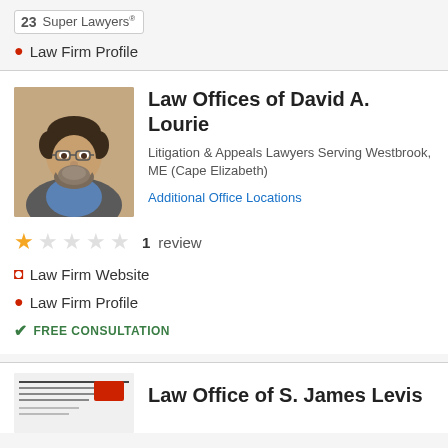23 Super Lawyers®
Law Firm Profile
Law Offices of David A. Lourie
Litigation & Appeals Lawyers Serving Westbrook, ME (Cape Elizabeth)
Additional Office Locations
1 review
Law Firm Website
Law Firm Profile
FREE CONSULTATION
Law Office of S. James Levis